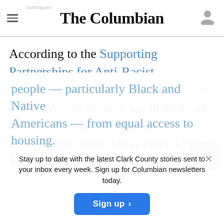The Columbian
According to the Supporting Partnerships for Anti-Racist Communities study published in March 2018: “People of color are dramatically more likely than white people to experience homelessness in the United States. This is no accident; it is the result of centuries of structural racism — policies and practices that prevented people — particularly Black and Native Americans — from equal access to housing.
Stay up to date with the latest Clark County stories sent to your inbox every week. Sign up for Columbian newsletters today.